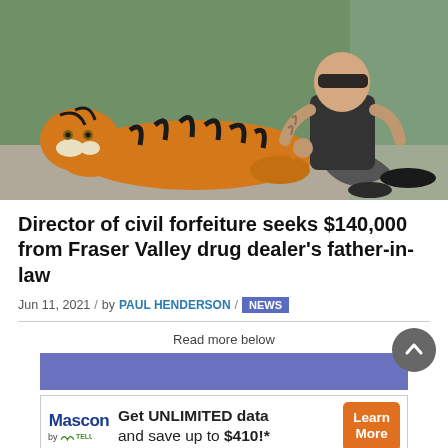[Figure (photo): A tattooed man in a black tank top and shorts sitting next to a large tiger inside a cage with a green wall background]
Director of civil forfeiture seeks $140,000 from Fraser Valley drug dealer’s father-in-law
Jun 11, 2021 / by PAUL HENDERSON / NEWS
Read more below
[Figure (infographic): Mascon by TELUS advertisement: Get UNLIMITED data and save up to $410!* with Learn More button]